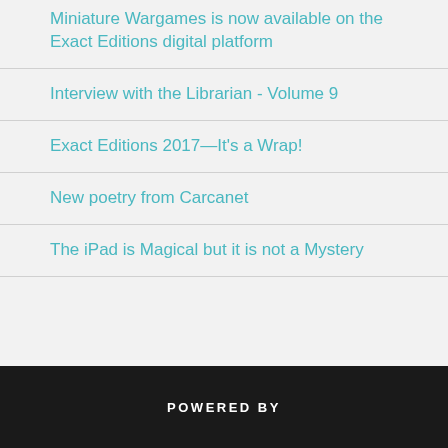Miniature Wargames is now available on the Exact Editions digital platform
Interview with the Librarian - Volume 9
Exact Editions 2017—It's a Wrap!
New poetry from Carcanet
The iPad is Magical but it is not a Mystery
POWERED BY